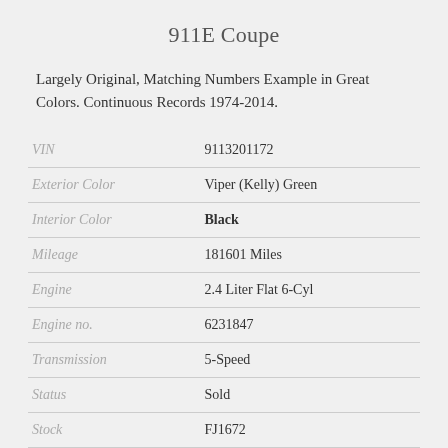911E Coupe
Largely Original, Matching Numbers Example in Great Colors. Continuous Records 1974-2014.
| Field | Value |
| --- | --- |
| VIN | 9113201172 |
| Exterior Color | Viper (Kelly) Green |
| Interior Color | Black |
| Mileage | 181601 Miles |
| Engine | 2.4 Liter Flat 6-Cyl |
| Engine no. | 6231847 |
| Transmission | 5-Speed |
| Status | Sold |
| Stock | FJ1672 |